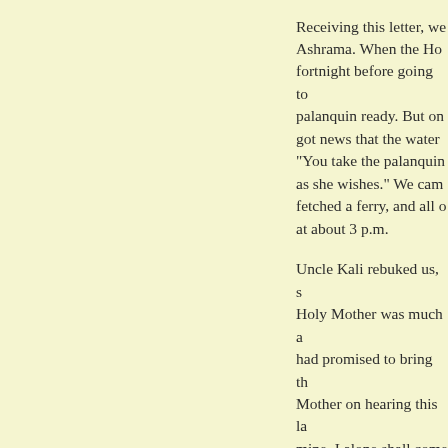Receiving this letter, we... Ashrama. When the Ho... fortnight before going to... palanquin ready. But on... got news that the water... "You take the palanquin... as she wishes." We cam... fetched a ferry, and all o... at about 3 p.m.
Uncle Kali rebuked us, s... Holy Mother was much a... had promised to bring th... Mother on hearing this la... mine. I alone shall come... came forward, telling, "M... their houses. Should we... the Holy Mother laughed... Ashrama.
But the Holy Mother fell...